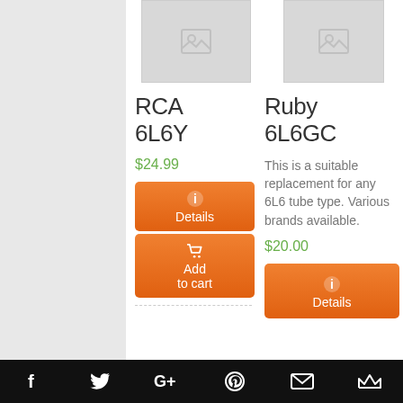[Figure (photo): Product image placeholder for RCA 6L6Y - gray placeholder with image icon]
RCA 6L6Y
$24.99
Details
Add to cart
[Figure (photo): Product image placeholder for Ruby 6L6GC - gray placeholder with image icon]
Ruby 6L6GC
This is a suitable replacement for any 6L6 tube type. Various brands available.
$20.00
Details
Social media icons: Facebook, Twitter, Google+, Pinterest, Email, Crown